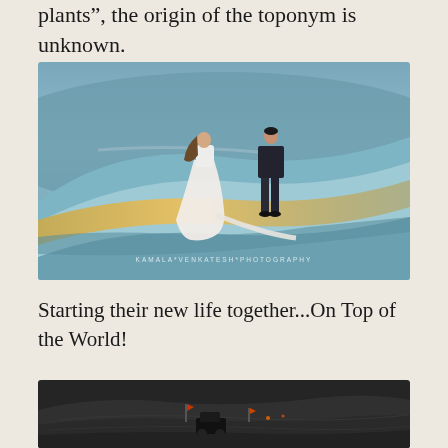plants”, the origin of the toponym is unknown.
[Figure (photo): A couple in wedding attire walking together on top of large white sand dunes at golden hour. The woman wears a long white dress and the man wears a dark suit. The dunes create sweeping curved lines with warm golden light accenting the ridges. Watermark reads KAMALA*VENKATESH*PHOTOGRAPHY.]
Starting their new life together...On Top of the World!
[Figure (photo): Dark sand dunes at dusk or night with a vehicle on the dunes and small orange/red flags visible in the distance. The scene is dimly lit with dark moody tones.]